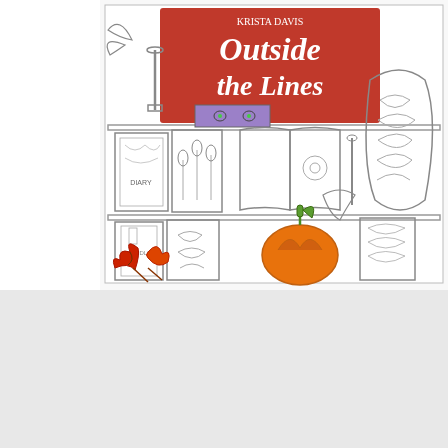[Figure (illustration): Book cover of 'Murder Outside the Lines: A Pen & Ink Mystery, Book 3'. Shows a bookshelf with coloring-book style line art books, decorative items, an open book, a patterned armchair on the right, autumn leaves, and a colored pumpkin at the bottom center. Red banner in the upper portion with white text reading 'Outside the Lines'.]
Murder Outside the Lines: A Pen & Ink Mystery, Book 3
$32.95
ADD TO CART